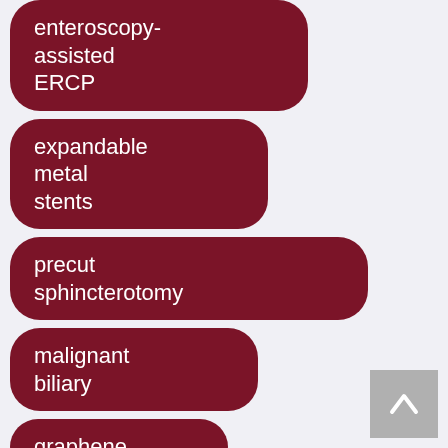enteroscopy-assisted ERCP
expandable metal stents
precut sphincterotomy
malignant biliary
graphene
magnetoresistance
tree disease